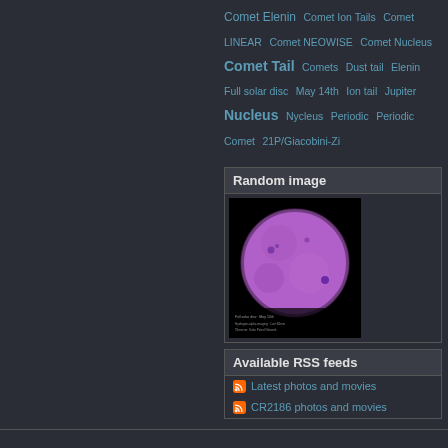Comet Elenin  Comet Ion Tails  Comet LINEAR  Comet NEOWISE  Comet Nucleus  Comet Tail  Comets  Dust tail  Elenin  Full solar disc  May 14th  Ion tail  Jupiter  Nucleus  Nycleus  Periodic  Periodic Comet  21P/Giacobini-Zi
Random image
[Figure (photo): Full solar disc image showing a large purple/violet sun against a black background with visible surface features and small dark spots. Text annotations at the bottom of the image.]
Available RSS feeds
Latest photos and movies
CR2186 photos and movies